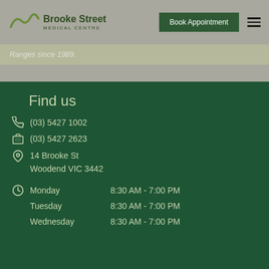[Figure (logo): Brooke Street Medical Centre logo with wave/hills graphic above text]
Book Appointment
Ranges since 1989.
Find us
(03) 5427 1002
(03) 5427 2623
14 Brooke St
Woodend VIC 3442
Monday    8:30 AM - 7:00 PM
Tuesday   8:30 AM - 7:00 PM
Wednesday 8:30 AM - 7:00 PM